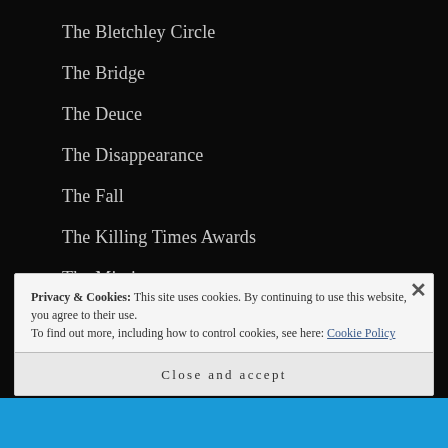The Bletchley Circle
The Bridge
The Deuce
The Disappearance
The Fall
The Killing Times Awards
The Missing
Privacy & Cookies: This site uses cookies. By continuing to use this website, you agree to their use.
To find out more, including how to control cookies, see here: Cookie Policy
Close and accept